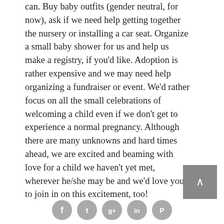can. Buy baby outfits (gender neutral, for now), ask if we need help getting together the nursery or installing a car seat. Organize a small baby shower for us and help us make a registry, if you'd like. Adoption is rather expensive and we may need help organizing a fundraiser or event. We'd rather focus on all the small celebrations of welcoming a child even if we don't get to experience a normal pregnancy. Although there are many unknowns and hard times ahead, we are excited and beaming with love for a child we haven't yet met, wherever he/she may be and we'd love you to join in on this excitement, too!
[Figure (other): Social media icons: Facebook, Twitter, Google+, LinkedIn, Pinterest]